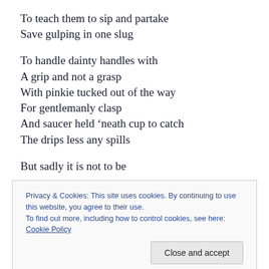To teach them to sip and partake
Save gulping in one slug
To handle dainty handles with
A grip and not a grasp
With pinkie tucked out of the way
For gentlemanly clasp
And saucer held ‘neath cup to catch
The drips less any spills
But sadly it is not to be
So guess we’ll get the bill!
Privacy & Cookies: This site uses cookies. By continuing to use this website, you agree to their use.
To find out more, including how to control cookies, see here: Cookie Policy
[Figure (photo): Partial photo strip at the bottom of the page showing a person]